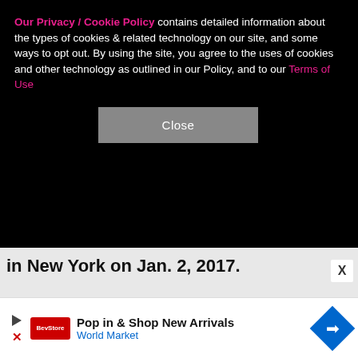Our Privacy / Cookie Policy contains detailed information about the types of cookies & related technology on our site, and some ways to opt out. By using the site, you agree to the uses of cookies and other technology as outlined in our Policy, and to our Terms of Use
Close
in New York on Jan. 2, 2017.
[Figure (photo): A woman with brown hair wearing a grey-brown blazer and scarf walking on a street in New York, looking at her phone. Other people visible in the background.]
Pop in & Shop New Arrivals
World Market